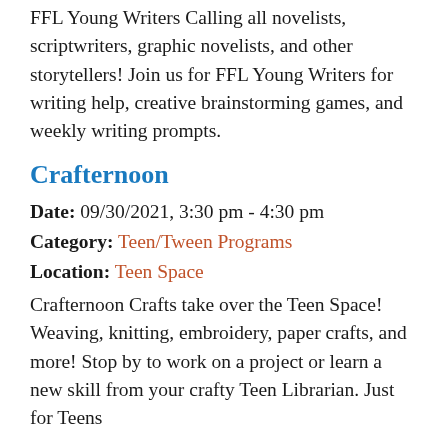FFL Young Writers Calling all novelists, scriptwriters, graphic novelists, and other storytellers! Join us for FFL Young Writers for writing help, creative brainstorming games, and weekly writing prompts.
Crafternoon
Date: 09/30/2021, 3:30 pm - 4:30 pm
Category: Teen/Tween Programs
Location: Teen Space
Crafternoon Crafts take over the Teen Space! Weaving, knitting, embroidery, paper crafts, and more! Stop by to work on a project or learn a new skill from your crafty Teen Librarian. Just for Teens